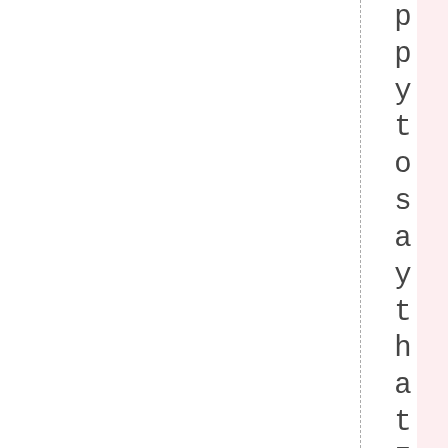ppy to say that I am not a member